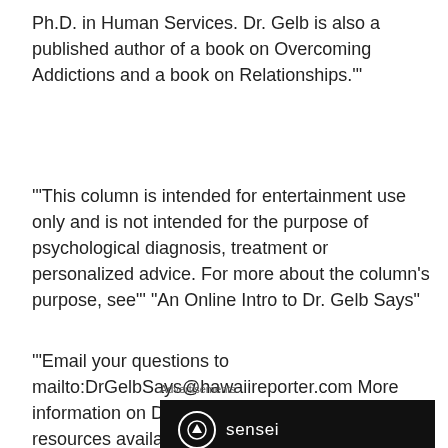Ph.D. in Human Services. Dr. Gelb is also a published author of a book on Overcoming Addictions and a book on Relationships.'"
'"This column is intended for entertainment use only and is not intended for the purpose of psychological diagnosis, treatment or personalized advice. For more about the column's purpose, see"' "An Online Intro to Dr. Gelb Says"
'"Email your questions to mailto:DrGelbSays@hawaiireporter.com More information on Dr. Gelb's services and related resources available at'" http://www.DrGelbSays.com
Advertisements
[Figure (logo): Sensei logo: dark background with a white circle containing an upward arrow icon and the text 'sensei']